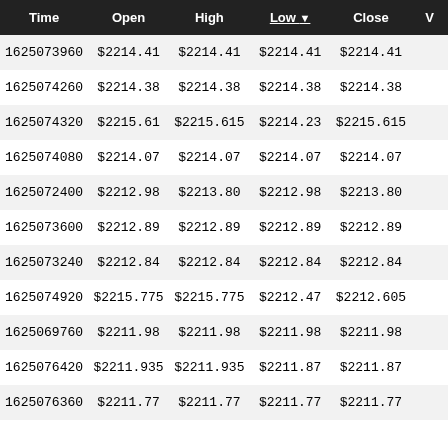| Time | Open | High | Low | Close | V |
| --- | --- | --- | --- | --- | --- |
| 1625073960 | $2214.41 | $2214.41 | $2214.41 | $2214.41 |  |
| 1625074260 | $2214.38 | $2214.38 | $2214.38 | $2214.38 |  |
| 1625074320 | $2215.61 | $2215.615 | $2214.23 | $2215.615 |  |
| 1625074080 | $2214.07 | $2214.07 | $2214.07 | $2214.07 |  |
| 1625072400 | $2212.98 | $2213.80 | $2212.98 | $2213.80 |  |
| 1625073600 | $2212.89 | $2212.89 | $2212.89 | $2212.89 |  |
| 1625073240 | $2212.84 | $2212.84 | $2212.84 | $2212.84 |  |
| 1625074920 | $2215.775 | $2215.775 | $2212.47 | $2212.605 |  |
| 1625069760 | $2211.98 | $2211.98 | $2211.98 | $2211.98 |  |
| 1625076420 | $2211.935 | $2211.935 | $2211.87 | $2211.87 |  |
| 1625076360 | $2211.77 | $2211.77 | $2211.77 | $2211.77 |  |